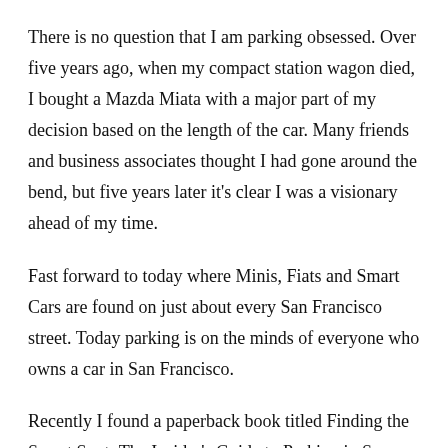There is no question that I am parking obsessed. Over five years ago, when my compact station wagon died, I bought a Mazda Miata with a major part of my decision based on the length of the car. Many friends and business associates thought I had gone around the bend, but five years later it’s clear I was a visionary ahead of my time.
Fast forward to today where Minis, Fiats and Smart Cars are found on just about every San Francisco street. Today parking is on the minds of everyone who owns a car in San Francisco.
Recently I found a paperback book titled Finding the Sweet Spot: The Insider’s Guide to Parking in San Francisco, by David LaBua, in my office mailbox. I intended to scan quickly through the book, but once I got started, I found it to be full of useful information.
LaBua includes some disconcerting facts that cannot be ignored. In